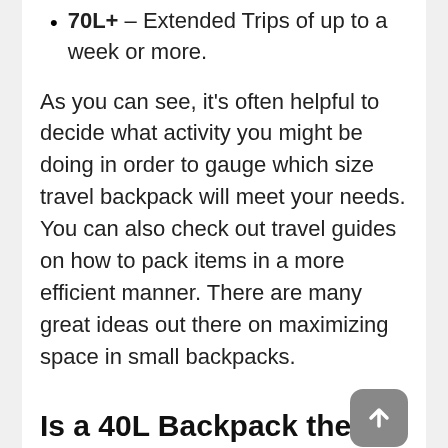70L+ – Extended Trips of up to a week or more.
As you can see, it's often helpful to decide what activity you might be doing in order to gauge which size travel backpack will meet your needs. You can also check out travel guides on how to pack items in a more efficient manner. There are many great ideas out there on maximizing space in small backpacks.
Is a 40L Backpack the Ideal Backpack?